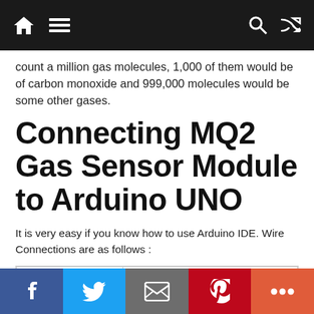Navigation bar with home, menu, search, and shuffle icons
count a million gas molecules, 1,000 of them would be of carbon monoxide and 999,000 molecules would be some other gases.
Connecting MQ2 Gas Sensor Module to Arduino UNO
It is very easy if you know how to use Arduino IDE. Wire Connections are as follows :
| MQ2 | NodeMCU |
| --- | --- |
Social share bar: Facebook, Twitter, Email, Pinterest, More